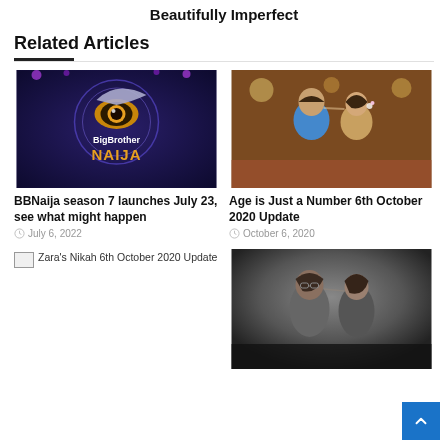Beautifully Imperfect
Related Articles
[Figure (photo): Big Brother Naija logo on dark blue background with golden eye symbol]
BBNaija season 7 launches July 23, see what might happen
July 6, 2022
[Figure (photo): Couple facing each other closely, romantic scene]
Age is Just a Number 6th October 2020 Update
October 6, 2020
[Figure (photo): Broken image placeholder for Zara's Nikah 6th October 2020 Update]
Zara's Nikah 6th October 2020 Update
[Figure (photo): Two people facing each other closely in a dark setting]